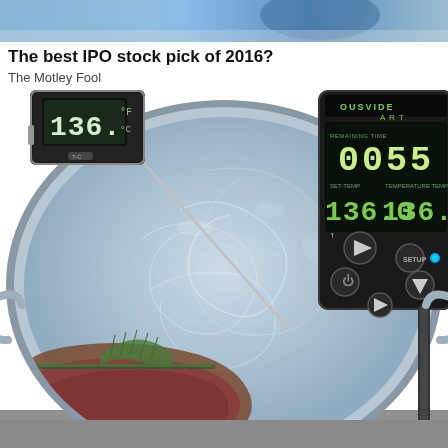[Figure (photo): Top cropped banner image showing a person in a blue outfit, partially visible]
The best IPO stock pick of 2016?
The Motley Fool
[Figure (photo): Overhead view of a stainless steel pot with water and meat in a vacuum-sealed bag being cooked sous vide. A digital thermometer probe shows 136°F inserted from the left, and a Sous Vide Art immersion circulator device is visible on the right showing temperature display reading 0055 timer and 136.0 set/current temperature with control buttons.]